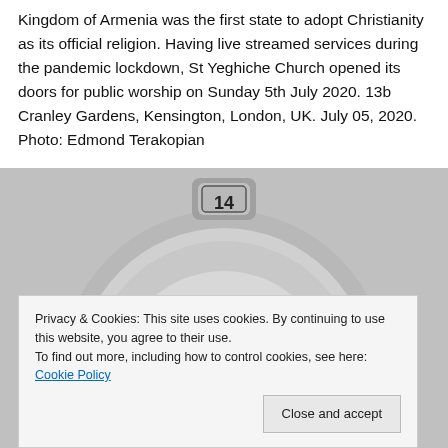Kingdom of Armenia was the first state to adopt Christianity as its official religion. Having live streamed services during the pandemic lockdown, St Yeghiche Church opened its doors for public worship on Sunday 5th July 2020. 13b Cranley Gardens, Kensington, London, UK. July 05, 2020. Photo: Edmond Terakopian
[Figure (photo): Close-up photo of a silver medal or award badge showing the number 14 at the top surrounded by a laurel wreath, with the word 'International' in cursive script across the center of the medallion.]
Privacy & Cookies: This site uses cookies. By continuing to use this website, you agree to their use.
To find out more, including how to control cookies, see here: Cookie Policy